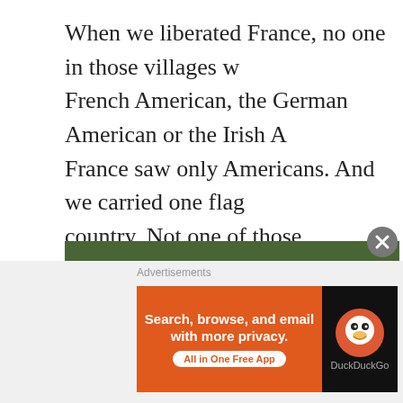When we liberated France, no one in those villages w French American, the German American or the Irish A France saw only Americans. And we carried one flag country. Not one of those immigrant sons would have up another country's flag and waving it to represent w have been a disgrace to their parents who had sacrifi here. These immigrants truly knew what it meant to b stirred the melting pot into one red, white and blue bo
[Figure (photo): A photograph showing a crowd of people, appearing to be at an outdoor gathering or protest. Several young men are visible in the foreground.]
Advertisements
[Figure (infographic): DuckDuckGo advertisement banner: 'Search, browse, and email with more privacy. All in One Free App' with DuckDuckGo logo]